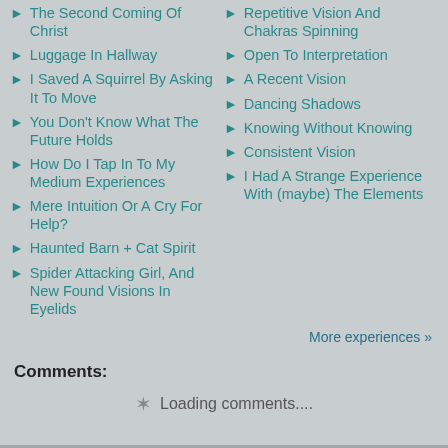The Second Coming Of Christ
Luggage In Hallway
I Saved A Squirrel By Asking It To Move
You Don't Know What The Future Holds
How Do I Tap In To My Medium Experiences
Mere Intuition Or A Cry For Help?
Haunted Barn + Cat Spirit
Spider Attacking Girl, And New Found Visions In Eyelids
Repetitive Vision And Chakras Spinning
Open To Interpretation
A Recent Vision
Dancing Shadows
Knowing Without Knowing
Consistent Vision
I Had A Strange Experience With (maybe) The Elements
More experiences »
Comments:
Loading comments....